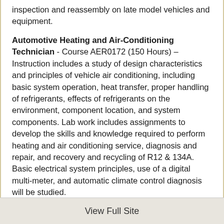inspection and reassembly on late model vehicles and equipment.
Automotive Heating and Air-Conditioning Technician - Course AER0172 (150 Hours) – Instruction includes a study of design characteristics and principles of vehicle air conditioning, including basic system operation, heat transfer, proper handling of refrigerants, effects of refrigerants on the environment, component location, and system components. Lab work includes assignments to develop the skills and knowledge required to perform heating and air conditioning service, diagnosis and repair, and recovery and recycling of R12 & 134A. Basic electrical system principles, use of a digital multi-meter, and automatic climate control diagnosis will be studied.
View Full Site